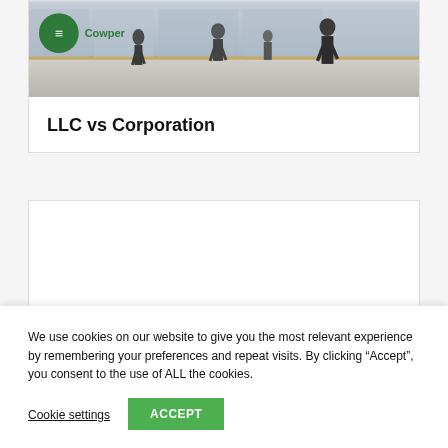[Figure (photo): Hero image showing people walking in a business/transit area, with Cowper logo badge in top-left corner]
LLC vs Corporation
[Figure (other): Empty white card area (advertisement or content placeholder)]
We use cookies on our website to give you the most relevant experience by remembering your preferences and repeat visits. By clicking “Accept”, you consent to the use of ALL the cookies.
Cookie settings
ACCEPT